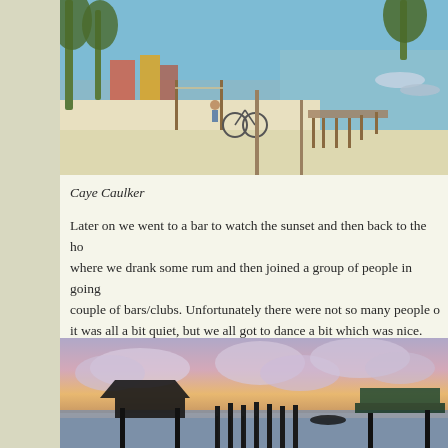[Figure (photo): Beach scene at Caye Caulker showing white sand beach, palm trees, beach volleyball net, bicycles, and a dock/pier extending into calm water with boats]
Caye Caulker
Later on we went to a bar to watch the sunset and then back to the ho where we drank some rum and then joined a group of people in going couple of bars/clubs. Unfortunately there were not so many people o it was all a bit quiet, but we all got to dance a bit which was nice.
[Figure (photo): Sunset/dusk scene at Caye Caulker showing silhouetted dock pilings, a thatched-roof structure, and boats on calm water with colorful pink and purple sky]